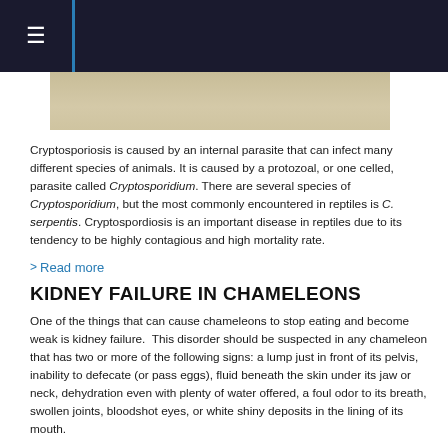[Figure (photo): Partial view of a chameleon or reptile on a sandy/tan background, cropped at top of page]
Cryptosporiosis is caused by an internal parasite that can infect many different species of animals. It is caused by a protozoal, or one celled, parasite called Cryptosporidium. There are several species of Cryptosporidium, but the most commonly encountered in reptiles is C. serpentis. Cryptospordiosis is an important disease in reptiles due to its tendency to be highly contagious and high mortality rate.
Read more
KIDNEY FAILURE IN CHAMELEONS
One of the things that can cause chameleons to stop eating and become weak is kidney failure.  This disorder should be suspected in any chameleon that has two or more of the following signs: a lump just in front of its pelvis, inability to defecate (or pass eggs), fluid beneath the skin under its jaw or neck, dehydration even with plenty of water offered, a foul odor to its breath, swollen joints, bloodshot eyes, or white shiny deposits in the lining of its mouth.